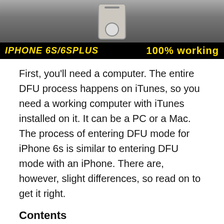[Figure (photo): Banner image showing a hand holding an iPhone with black bar at bottom reading 'iPHONE 6S/6SPLUS' in yellow italic text and '100% working' in yellow bold text on black background.]
First, you'll need a computer. The entire DFU process happens on iTunes, so you need a working computer with iTunes installed on it. It can be a PC or a Mac. The process of entering DFU mode for iPhone 6s is similar to entering DFU mode with an iPhone. There are, however, slight differences, so read on to get it right.
Contents
1 What is DFU mode in iPhone and iPad or iPod ?
1.1 Why is it important to Put Your iPhone in Dfu Mode?
1.2 The process's How To Put DFU mode iPhone 6s :